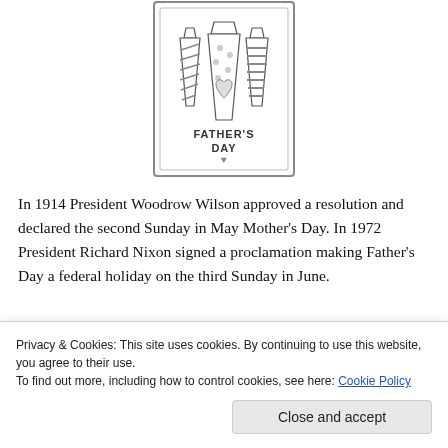[Figure (illustration): A Father's Day greeting card coloring page showing three neckties (striped, polka-dot with heart, and diagonal-striped) with the text 'FATHER'S DAY' and a heart symbol inside a decorative bordered card frame.]
In 1914 President Woodrow Wilson approved a resolution and declared the second Sunday in May Mother's Day. In 1972 President Richard Nixon signed a proclamation making Father's Day a federal holiday on the third Sunday in June.
Privacy & Cookies: This site uses cookies. By continuing to use this website, you agree to their use.
To find out more, including how to control cookies, see here: Cookie Policy
Close and accept